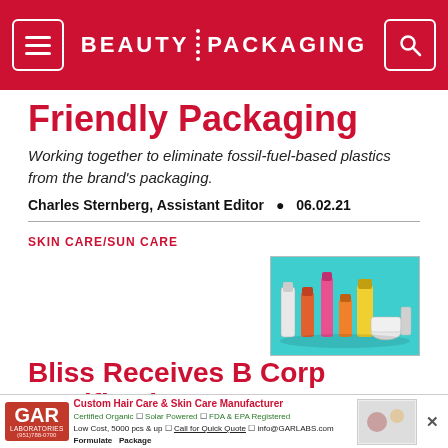BEAUTY PACKAGING
Friendly Packaging
Working together to eliminate fossil-fuel-based plastics from the brand's packaging.
Charles Sternberg, Assistant Editor • 06.02.21
SKIN CARE/SUN CARE
[Figure (photo): Assorted skincare and beauty product bottles on a teal/cyan background]
Bliss Receives B Corp Certification
Becomes the first mass and drug skincare brand to
[Figure (other): GAR Laboratories advertisement: Custom Hair Care & Skin Care Manufacturer. Certified Organic, Solar Powered, FDA & EPA Registered. Low Cost, 5000 pcs & up. Call for Quick Quote. info@GARLABS.com. Formulate Package.]